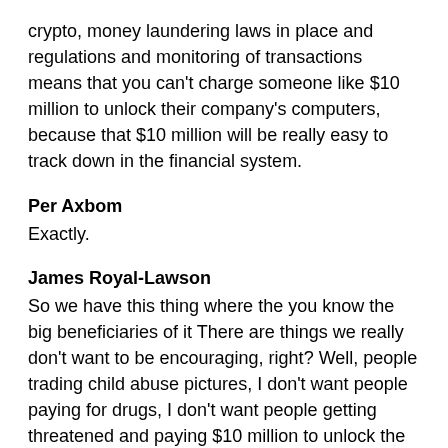crypto, money laundering laws in place and regulations and monitoring of transactions means that you can't charge someone like $10 million to unlock their company's computers, because that $10 million will be really easy to track down in the financial system.
Per Axbom
Exactly.
James Royal-Lawson
So we have this thing where the you know the big beneficiaries of it There are things we really don't want to be encouraging, right? Well, people trading child abuse pictures, I don't want people paying for drugs, I don't want people getting threatened and paying $10 million to unlock the computer.
Per Axbom